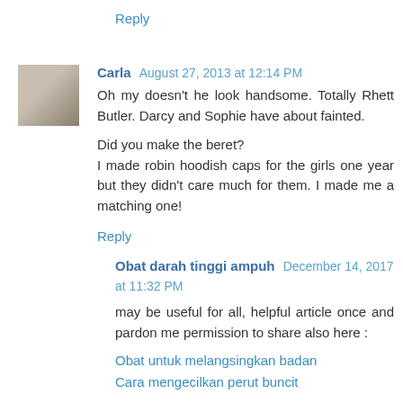Reply
Carla August 27, 2013 at 12:14 PM
Oh my doesn't he look handsome. Totally Rhett Butler. Darcy and Sophie have about fainted.

Did you make the beret?
I made robin hoodish caps for the girls one year but they didn't care much for them. I made me a matching one!
Reply
Obat darah tinggi ampuh December 14, 2017 at 11:32 PM

may be useful for all, helpful article once and pardon me permission to share also here :

Obat untuk melangsingkan badan
Cara mengecilkan perut buncit